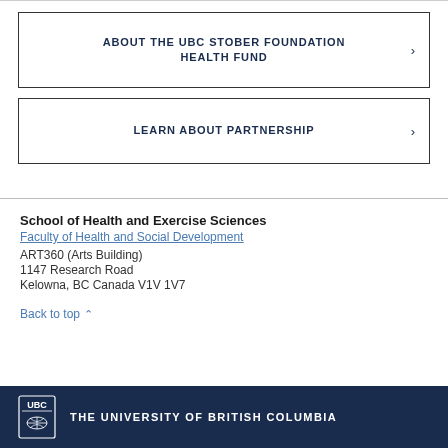ABOUT THE UBC STOBER FOUNDATION HEALTH FUND
LEARN ABOUT PARTNERSHIP
School of Health and Exercise Sciences
Faculty of Health and Social Development
ART360 (Arts Building)
1147 Research Road
Kelowna, BC Canada V1V 1V7
Back to top
THE UNIVERSITY OF BRITISH COLUMBIA